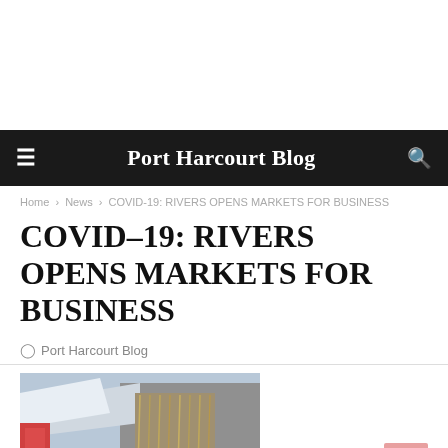Port Harcourt Blog
Home › News › COVID-19: RIVERS OPENS MARKETS FOR BUSINESS
COVID-19: RIVERS OPENS MARKETS FOR BUSINESS
Port Harcourt Blog
[Figure (photo): Market scene with umbrellas and goods on display]